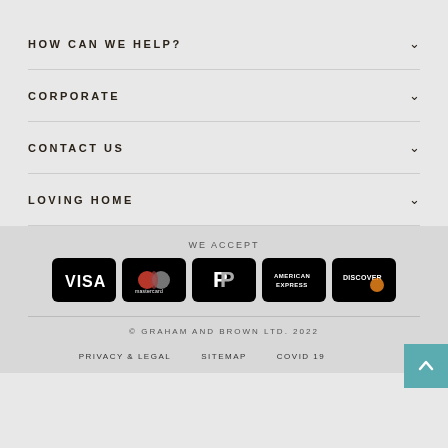HOW CAN WE HELP?
CORPORATE
CONTACT US
LOVING HOME
WE ACCEPT
[Figure (other): Payment method icons: Visa, Mastercard, PayPal, American Express, Discover]
© GRAHAM AND BROWN LTD. 2022
PRIVACY & LEGAL   SITEMAP   COVID 19